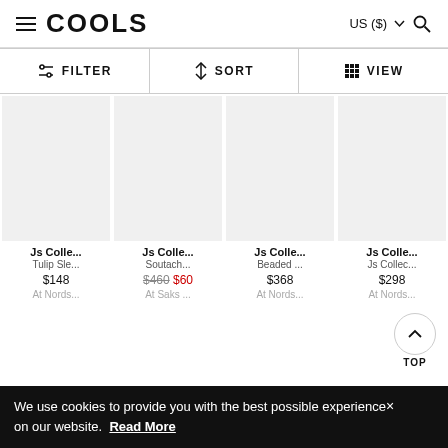COOLS — US ($) [menu, currency selector, search]
FILTER  SORT  VIEW
[Figure (other): White empty product image placeholder 1]
Js Colle...
Tulip Sle...
$148
At Nords...
[Figure (other): White empty product image placeholder 2]
Js Colle...
Soutach...
$460 $60
At Saks ...
[Figure (other): White empty product image placeholder 3]
Js Colle...
Beaded ...
$368
At Nords...
[Figure (other): White empty product image placeholder 4]
Js Colle...
Js Collec...
$298
At Nords...
TOP
We use cookies to provide you with the best possible experience× on our website. Read More